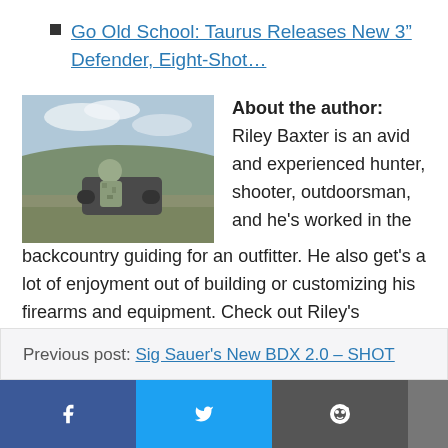Go Old School: Taurus Releases New 3″ Defender, Eight-Shot…
[Figure (photo): Photo of a hunter/shooter in camouflage gear in an outdoor backcountry setting with mountains and sky in the background]
About the author: Riley Baxter is an avid and experienced hunter, shooter, outdoorsman, and he's worked in the backcountry guiding for an outfitter. He also get's a lot of enjoyment out of building or customizing his firearms and equipment. Check out Riley's Instagram @Shooter300
Previous post: Sig Sauer's New BDX 2.0 – SHOT